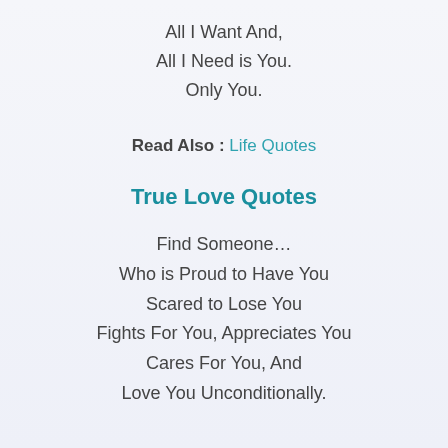All I Want And,
All I Need is You.
Only You.
Read Also : Life Quotes
True Love Quotes
Find Someone…
Who is Proud to Have You
Scared to Lose You
Fights For You, Appreciates You
Cares For You, And
Love You Unconditionally.